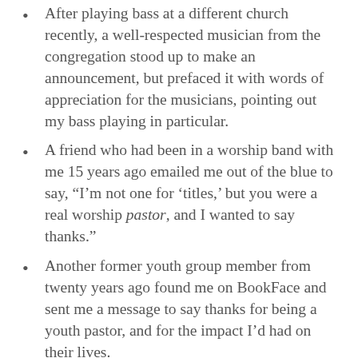After playing bass at a different church recently, a well-respected musician from the congregation stood up to make an announcement, but prefaced it with words of appreciation for the musicians, pointing out my bass playing in particular.
A friend who had been in a worship band with me 15 years ago emailed me out of the blue to say, “I’m not one for ‘titles,’ but you were a real worship pastor, and I wanted to say thanks.”
Another former youth group member from twenty years ago found me on BookFace and sent me a message to say thanks for being a youth pastor, and for the impact I’d had on their lives.
Yet another former youth group member, from our time as volunteers with George Mercado in